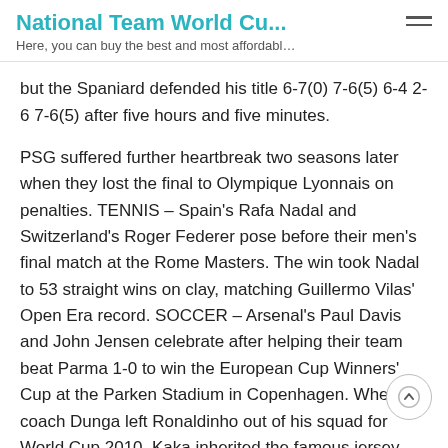National Team World Cu...
Here, you can buy the best and most affordabl…
but the Spaniard defended his title 6-7(0) 7-6(5) 6-4 2-6 7-6(5) after five hours and five minutes.
PSG suffered further heartbreak two seasons later when they lost the final to Olympique Lyonnais on penalties. TENNIS – Spain's Rafa Nadal and Switzerland's Roger Federer pose before their men's final match at the Rome Masters. The win took Nadal to 53 straight wins on clay, matching Guillermo Vilas' Open Era record. SOCCER – Arsenal's Paul Davis and John Jensen celebrate after helping their team beat Parma 1-0 to win the European Cup Winners' Cup at the Parken Stadium in Copenhagen. When coach Dunga left Ronaldinho out of his squad for World Cup 2010, Kaka inherited the famous jersey and led a counter-attacking team that had raced through qualification to arrive in South Africa with